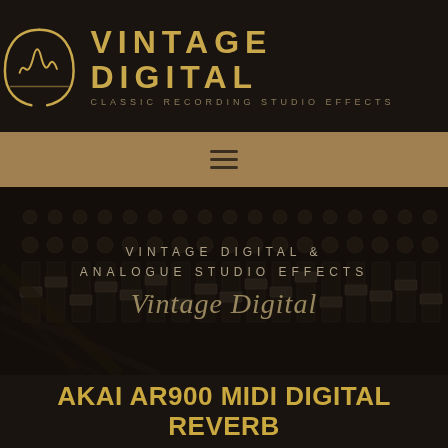[Figure (logo): Vintage Digital logo with waveform/headphone icon and text 'VINTAGE DIGITAL' with subtitle 'CLASSIC RECORDING STUDIO EFFECTS' on dark background]
[Figure (other): Hamburger/menu icon (three horizontal lines) on tan/gold navigation bar]
[Figure (photo): Recording studio mixing console/fader knobs photograph in dark sepia tone as hero background]
VINTAGE DIGITAL & ANALOGUE STUDIO EFFECTS
Vintage Digital
AKAI AR900 MIDI DIGITAL REVERB